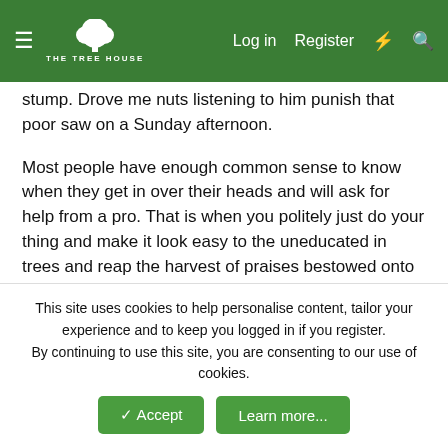THE TREE HOUSE — Log in | Register
stump. Drove me nuts listening to him punish that poor saw on a Sunday afternoon.

Most people have enough common sense to know when they get in over their heads and will ask for help from a pro. That is when you politely just do your thing and make it look easy to the uneducated in trees and reap the harvest of praises bestowed onto you for helping them out, for money of course or a good trade of some some sort. There are always a few out there that don't know their limits and end up getting hurt.
RIVERRAT
Guest
This site uses cookies to help personalise content, tailor your experience and to keep you logged in if you register.
By continuing to use this site, you are consenting to our use of cookies.